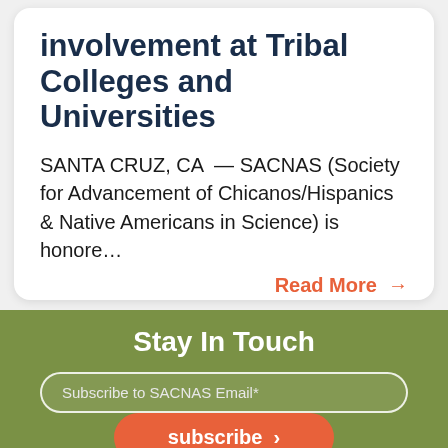involvement at Tribal Colleges and Universities
SANTA CRUZ, CA  —  SACNAS (Society for Advancement of Chicanos/Hispanics & Native Americans in Science) is honore…
Read More →
Stay In Touch
Subscribe to SACNAS Email*
subscribe →